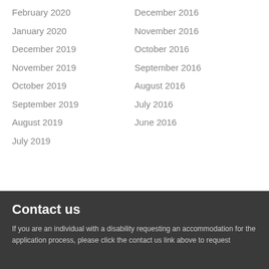February 2020
January 2020
December 2019
November 2019
October 2019
September 2019
August 2019
July 2019
December 2016
November 2016
October 2016
September 2016
August 2016
July 2016
June 2016
Contact us
If you are an individual with a disability requesting an accommodation for the application process, please click the contact us link above to request